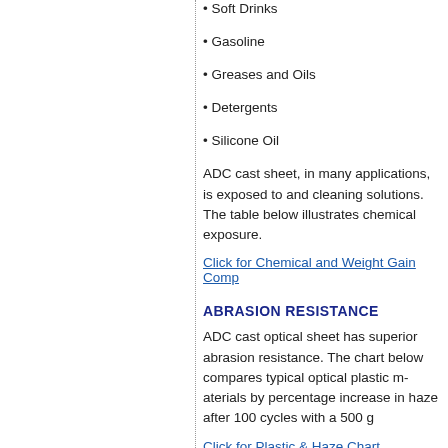• Soft Drinks
• Gasoline
• Greases and Oils
• Detergents
• Silicone Oil
ADC cast sheet, in many applications, is exposed to cleaning solutions. The table below illustrates chemical exposure.
Click for Chemical and Weight Gain Comp
ABRASION RESISTANCE
ADC cast optical sheet has superior abrasion resistance. The chart below compares typical optical plastic materials by percentage increase in haze after 100 cycles with a 500 g load.
Click for Plastic & Haze Chart
OPTICAL CLARITY
Optical clarity, low haze and high light transmittance are key properties of optical plastics. ADC has the lowest haze and properties are summarized in the following t...